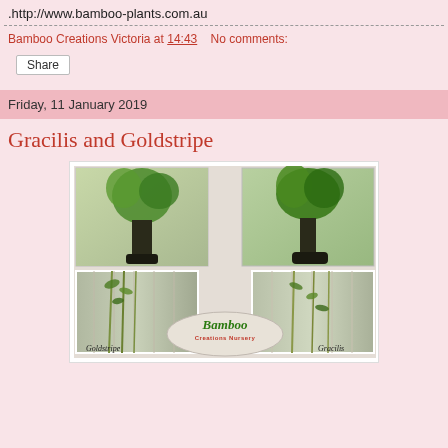.http://www.bamboo-plants.com.au
Bamboo Creations Victoria at 14:43    No comments:
Share
Friday, 11 January 2019
Gracilis and Goldstripe
[Figure (photo): Collage of four bamboo plant photos with Bamboo Creations Nursery logo. Top-left and top-right show bamboo plants in pots. Bottom-left labeled Goldstripe and bottom-right labeled Gracilis show bamboo plants against a fence. Center oval logo reads Bamboo Creations Nursery.]